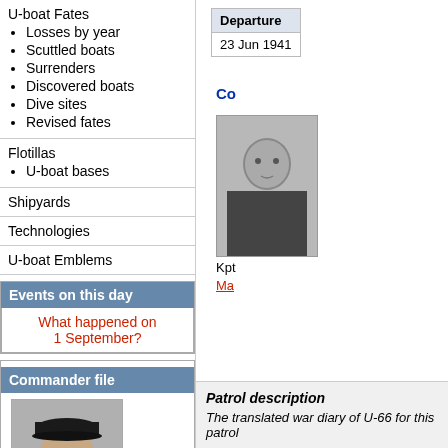U-boat Fates
Losses by year
Scuttled boats
Surrenders
Discovered boats
Dive sites
Revised fates
Flotillas
U-boat bases
Shipyards
Technologies
U-boat Emblems
Events on this day
What happened on 1 September?
Commander file
[Figure (photo): Black and white photo of a naval commander in uniform]
| Departure |
| --- |
| 23 Jun 1941 |
Co
[Figure (photo): Black and white photo of a commander]
Kpt
Ma
Patrol description
The translated war diary of U-66 for this patrol